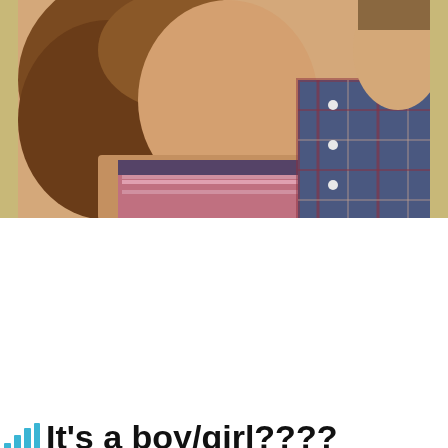[Figure (photo): Two people posing together; woman with curly brown hair wearing a strapless patterned top, man beside her wearing a plaid shirt]
Share this:
Pinterest  Facebook  Print  Email
Like
Be the first to like this.
It's a boy/girl????